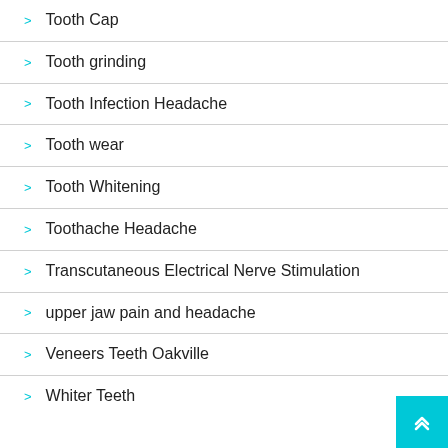Tooth Cap
Tooth grinding
Tooth Infection Headache
Tooth wear
Tooth Whitening
Toothache Headache
Transcutaneous Electrical Nerve Stimulation
upper jaw pain and headache
Veneers Teeth Oakville
Whiter Teeth